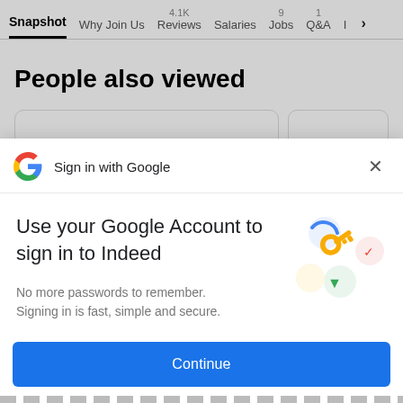Snapshot | Why Join Us | 4.1K Reviews | Salaries | 9 Jobs | 1 Q&A | I >
People also viewed
[Figure (screenshot): Two partially visible card stubs for 'People also viewed' section]
Sign in with Google
Use your Google Account to sign in to Indeed
No more passwords to remember. Signing in is fast, simple and secure.
[Figure (illustration): Google Sign-in illustration with a golden key and colorful circles]
Continue